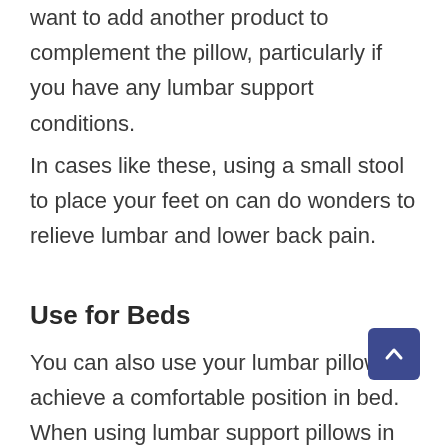want to add another product to complement the pillow, particularly if you have any lumbar support conditions.
In cases like these, using a small stool to place your feet on can do wonders to relieve lumbar and lower back pain.
Use for Beds
You can also use your lumbar pillow to achieve a comfortable position in bed.
When using lumbar support pillows in bed,